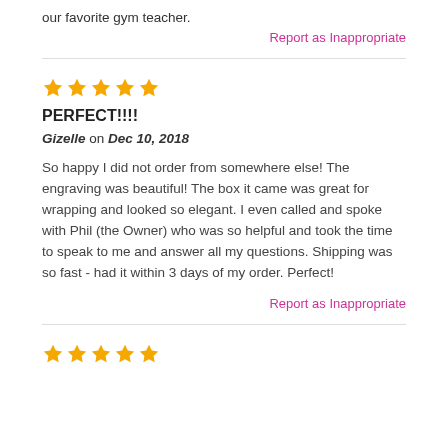our favorite gym teacher.
Report as Inappropriate
[Figure (other): 5 gold stars rating]
PERFECT!!!!
Gizelle on Dec 10, 2018
So happy I did not order from somewhere else! The engraving was beautiful! The box it came was great for wrapping and looked so elegant. I even called and spoke with Phil (the Owner) who was so helpful and took the time to speak to me and answer all my questions. Shipping was so fast - had it within 3 days of my order. Perfect!
Report as Inappropriate
[Figure (other): 5 gold stars rating]